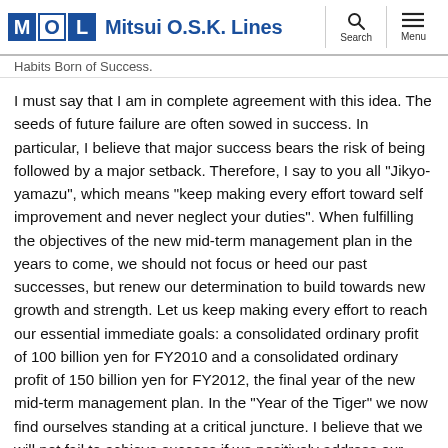MOL Mitsui O.S.K. Lines
Habits Born of Success.
I must say that I am in complete agreement with this idea. The seeds of future failure are often sowed in success. In particular, I believe that major success bears the risk of being followed by a major setback. Therefore, I say to you all "Jikyo-yamazu", which means "keep making every effort toward self improvement and never neglect your duties". When fulfilling the objectives of the new mid-term management plan in the years to come, we should not focus or heed our past successes, but renew our determination to build towards new growth and strength. Let us keep making every effort to reach our essential immediate goals: a consolidated ordinary profit of 100 billion yen for FY2010 and a consolidated ordinary profit of 150 billion yen for FY2012, the final year of the new mid-term management plan. In the "Year of the Tiger" we now find ourselves standing at a critical juncture. I believe that we will not fail to achieve success if we positively address our difficulties and fearlessly meet our challenges. Let us all unite and strive to reach high ground again.